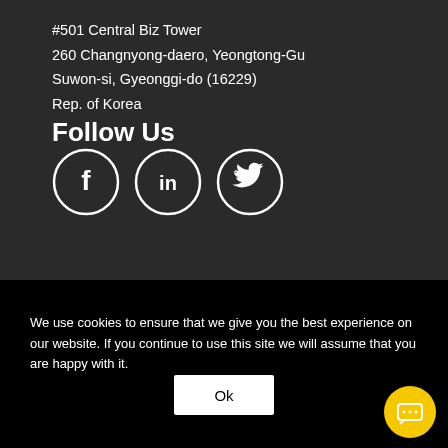#501 Central Biz Tower
260 Changnyong-daero, Yeongtong-Gu
Suwon-si, Gyeonggi-do (16229)
Rep. of Korea
Follow Us
[Figure (illustration): Three circular social media icons for Facebook (f), LinkedIn (in), and Twitter (bird icon), white outlines on dark background]
We use cookies to ensure that we give you the best experience on our website. If you continue to use this site we will assume that you are happy with it.
[Figure (illustration): Ok button - white rectangle with black Ok text]
[Figure (illustration): Yellow circular chat bubble icon with speech bubble icon inside, bottom right corner]